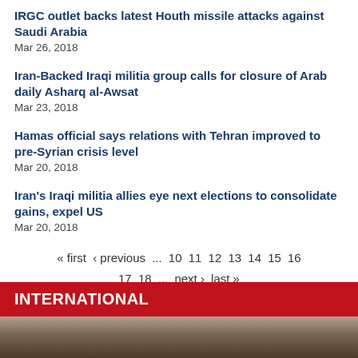IRGC outlet backs latest Houth missile attacks against Saudi Arabia
Mar 26, 2018
Iran-Backed Iraqi militia group calls for closure of Arab daily Asharq al-Awsat
Mar 23, 2018
Hamas official says relations with Tehran improved to pre-Syrian crisis level
Mar 20, 2018
Iran's Iraqi militia allies eye next elections to consolidate gains, expel US
Mar 20, 2018
« first ‹ previous … 10 11 12 13 14 15 16 17 18 … next › last »
INTERNATIONAL
[Figure (photo): Partial view of a person, bottom strip of page]